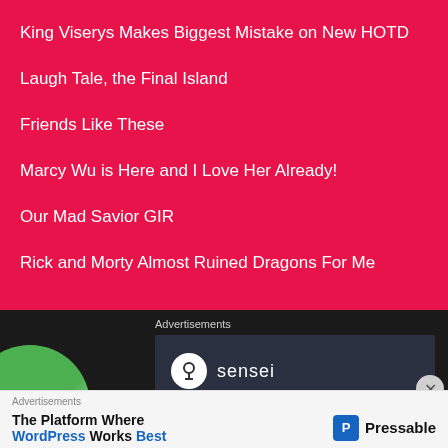King Viserys Makes Biggest Mistake on New HOTD
Laugh Tale, the Final Island
Friends Like These
Marcy Wu is Here and I Love Her Already!
Our Mad Savior GIR
Rick and Morty Almost Ruined Dragons For Me
Advertisements
[Figure (screenshot): Sensei advertisement with logo and text 'launch your online']
Advertisements
The Platform Where WordPress Works Best — Pressable